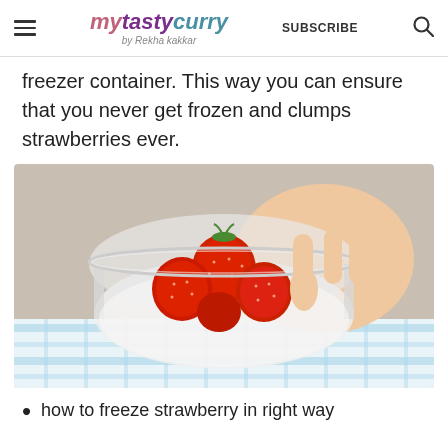mytastycurry by Rekha kakkar | SUBSCRIBE | (search icon)
freezer container. This way you can ensure that you never get frozen and clumps strawberries ever.
[Figure (photo): A hand holding a clear plastic container filled with fresh red strawberries, placed on a blue and white checked cloth/towel on a countertop.]
how to freeze strawberry in right way